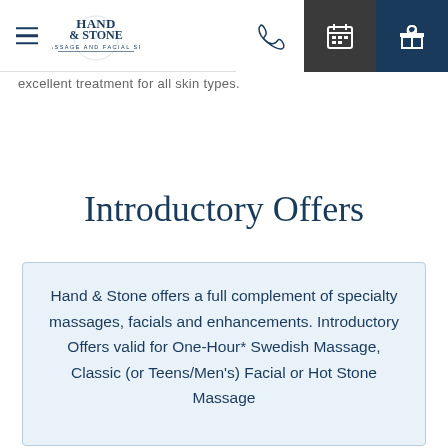Hand & Stone Massage and Facial Spa — navigation bar with hamburger menu, logo, phone icon, calendar icon, gift icon
excellent treatment for all skin types.
Introductory Offers
Hand & Stone offers a full complement of specialty massages, facials and enhancements. Introductory Offers valid for One-Hour* Swedish Massage, Classic (or Teens/Men's) Facial or Hot Stone Massage